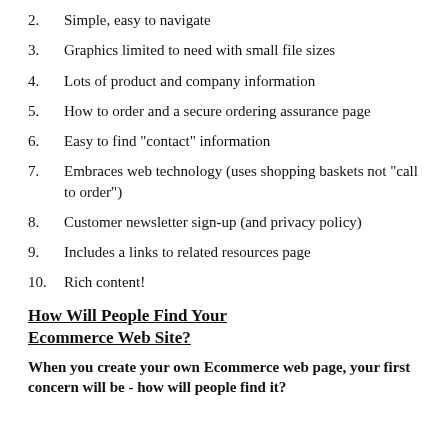2. Simple, easy to navigate
3. Graphics limited to need with small file sizes
4. Lots of product and company information
5. How to order and a secure ordering assurance page
6. Easy to find "contact" information
7. Embraces web technology (uses shopping baskets not "call to order")
8. Customer newsletter sign-up (and privacy policy)
9. Includes a links to related resources page
10. Rich content!
How Will People Find Your Ecommerce Web Site?
When you create your own Ecommerce web page, your first concern will be - how will people find it?